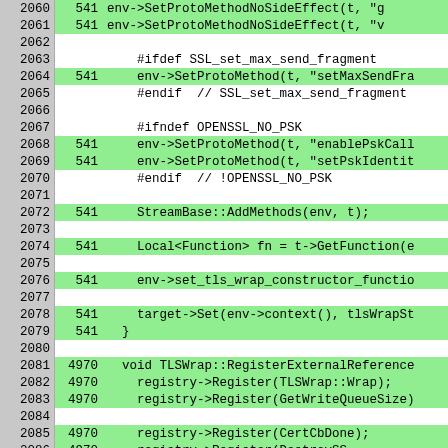[Figure (screenshot): Code coverage view of C++ source file showing line numbers, hit counts, and source code for TLSWrap methods. Green highlighted rows indicate covered lines (hit count 541 or 4970). Lines 2060-2086 are shown.]